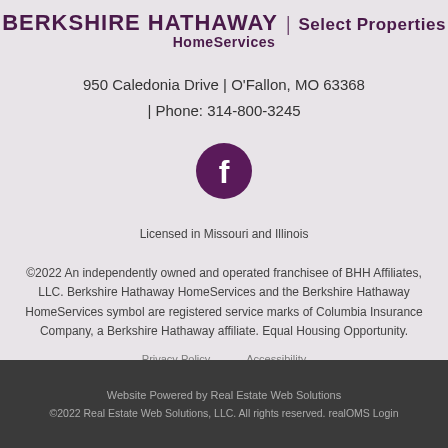BERKSHIRE HATHAWAY | Select Properties HomeServices
950 Caledonia Drive | O'Fallon, MO 63368 | Phone: 314-800-3245
[Figure (logo): Facebook icon - dark purple circle with white 'f' letter]
Licensed in Missouri and Illinois
©2022 An independently owned and operated franchisee of BHH Affiliates, LLC. Berkshire Hathaway HomeServices and the Berkshire Hathaway HomeServices symbol are registered service marks of Columbia Insurance Company, a Berkshire Hathaway affiliate. Equal Housing Opportunity.
Privacy Policy    Accessibility
Website Powered by Real Estate Web Solutions
©2022 Real Estate Web Solutions, LLC. All rights reserved. realOMS Login